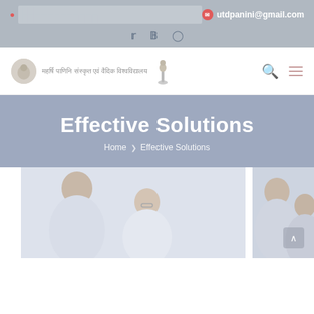utdpanini@gmail.com | social links
[Figure (logo): Maharishi Panini Sanskrit and Vedic University logo with Hindi text and statue icon, plus search and menu icons]
Effective Solutions
Home > Effective Solutions
[Figure (photo): Business professionals in conversation, faded/washed-out style, two separate photo panels showing groups of people talking]